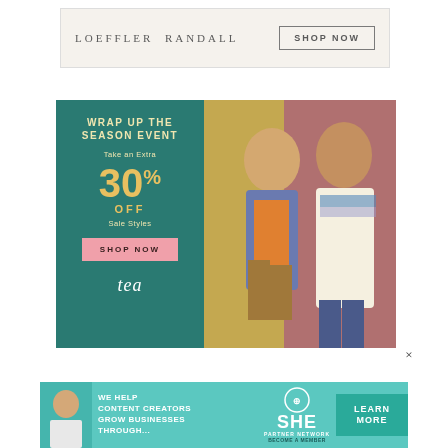[Figure (logo): Loeffler Randall brand banner ad with logo text and SHOP NOW button on beige background]
[Figure (infographic): Tea Collection ad: teal left panel with promotional text 'WRAP UP THE SEASON EVENT Take an Extra 30% OFF Sale Styles SHOP NOW' and tea script logo; right panel shows two children in colorful clothing]
[Figure (infographic): SHE Partner Network bottom banner ad in teal: 'WE HELP CONTENT CREATORS GROW BUSINESSES THROUGH...' with SHE logo and LEARN MORE button]